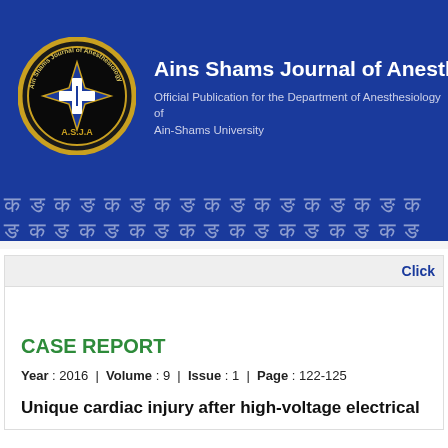[Figure (logo): Ain Shams Journal of Anesthesiology journal header banner with circular ASJA logo on a dark navy blue background]
Ains Shams Journal of Anesthesiology
Official Publication for the Department of Anesthesiology of Ain-Shams University
Click
CASE REPORT
Year : 2016  |  Volume : 9  |  Issue : 1  |  Page : 122-125
Unique cardiac injury after high-voltage electrical